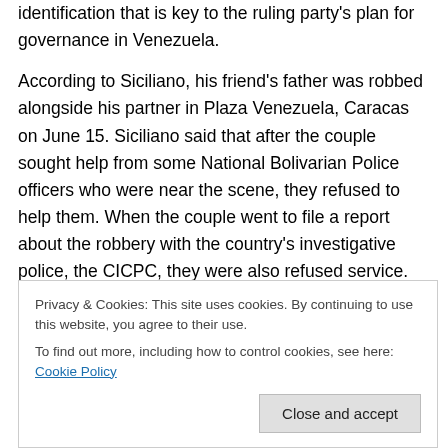identification that is key to the ruling party's plan for governance in Venezuela.
According to Siciliano, his friend's father was robbed alongside his partner in Plaza Venezuela, Caracas on June 15. Siciliano said that after the couple sought help from some National Bolivarian Police officers who were near the scene, they refused to help them. When the couple went to file a report about the robbery with the country's investigative police, the CICPC, they were also refused service.
Privacy & Cookies: This site uses cookies. By continuing to use this website, you agree to their use. To find out more, including how to control cookies, see here: Cookie Policy